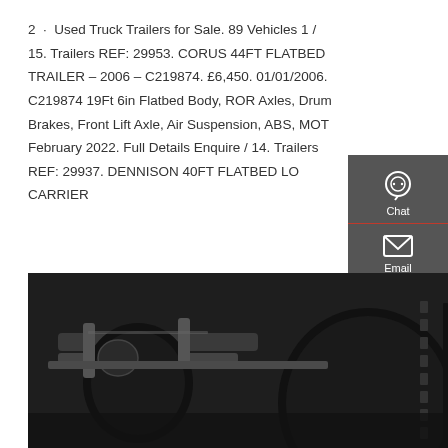2 · Used Truck Trailers for Sale. 89 Vehicles 1 / 15. Trailers REF: 29953. CORUS 44FT FLATBED TRAILER – 2006 – C219874. £6,450. 01/01/2006. C219874 19Ft 6in Flatbed Body, ROR Axles, Drum Brakes, Front Lift Axle, Air Suspension, ABS, MOT February 2022. Full Details Enquire / 14. Trailers REF: 29937. DENNISON 40FT FLATBED LO CARRIER
[Figure (other): Orange 'Get a Quote' button]
[Figure (other): Dark sidebar with Chat, Email, Contact, Top navigation icons]
[Figure (photo): Photo of truck trailer undercarriage showing axles, suspension components, and large tires]